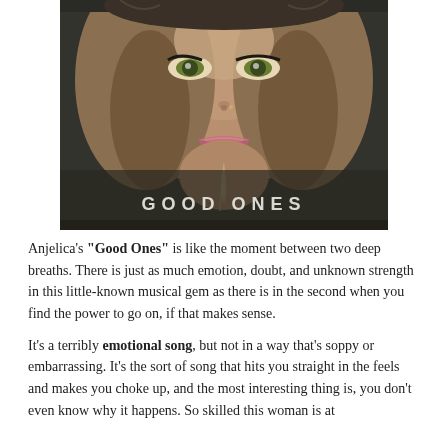[Figure (illustration): Digital illustration of a woman's face with blonde hair and striking eyes, lips slightly parted with a liquid drip. Dark background. Text overlay reads 'GOOD ONES' in white spaced letters near the bottom of the image.]
Anjelica's "Good Ones" is like the moment between two deep breaths. There is just as much emotion, doubt, and unknown strength in this little-known musical gem as there is in the second when you find the power to go on, if that makes sense.
It's a terribly emotional song, but not in a way that's soppy or embarrassing. It's the sort of song that hits you straight in the feels and makes you choke up, and the most interesting thing is, you don't even know why it happens. So skilled this woman is at